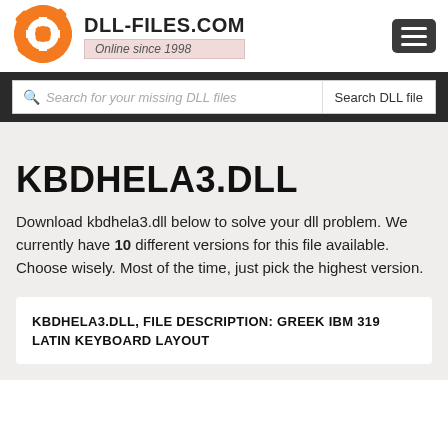[Figure (logo): DLL-Files.com orange gear/lifesaver logo icon]
DLL-FILES.COM
Online since 1998
[Figure (other): Hamburger menu icon button]
Search for your missing DLL files
Search DLL file
KBDHELA3.DLL
Download kbdhela3.dll below to solve your dll problem. We currently have 10 different versions for this file available. Choose wisely. Most of the time, just pick the highest version.
KBDHELA3.DLL, FILE DESCRIPTION: GREEK IBM 319 LATIN KEYBOARD LAYOUT